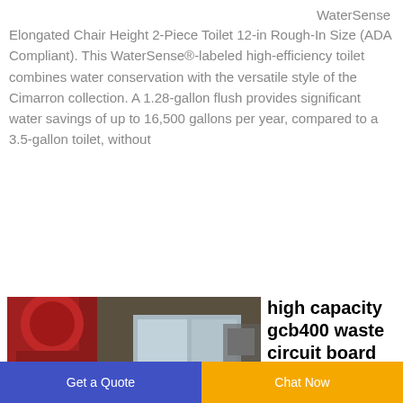WaterSense
Elongated Chair Height 2-Piece Toilet 12-in Rough-In Size (ADA Compliant). This WaterSense®-labeled high-efficiency toilet combines water conservation with the versatile style of the Cimarron collection. A 1.28-gallon flush provides significant water savings of up to 16,500 gallons per year, compared to a 3.5-gallon toilet, without
[Figure (photo): Industrial machine (high capacity gcb400 waste circuit board recycling machine) in a factory setting, white machine with red equipment in background]
high capacity gcb400 waste circuit board for
Get a Quote  Chat Now